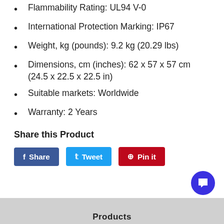Flammability Rating: UL94 V-0
International Protection Marking: IP67
Weight, kg (pounds): 9.2 kg (20.29 lbs)
Dimensions, cm (inches): 62 x 57 x 57 cm (24.5 x 22.5 x 22.5 in)
Suitable markets: Worldwide
Warranty: 2 Years
Share this Product
Share | Tweet | Pin it
Products